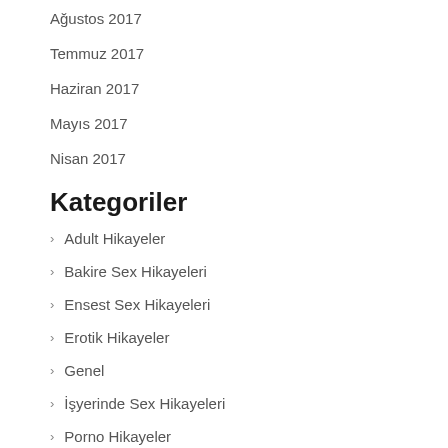Ağustos 2017
Temmuz 2017
Haziran 2017
Mayıs 2017
Nisan 2017
Kategoriler
Adult Hikayeler
Bakire Sex Hikayeleri
Ensest Sex Hikayeleri
Erotik Hikayeler
Genel
İşyerinde Sex Hikayeleri
Porno Hikayeler
Meta